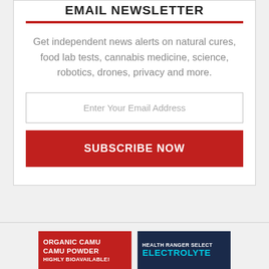EMAIL NEWSLETTER
Get independent news alerts on natural cures, food lab tests, cannabis medicine, science, robotics, drones, privacy and more.
[Figure (infographic): Email input box with placeholder text 'Enter Your Email Address' and a red SUBSCRIBE NOW button below it]
[Figure (infographic): Two product advertisement tiles side by side: left is red with 'ORGANIC CAMU CAMU POWDER HIGHLY BIOAVAILABLE!' text; right is dark navy with 'HEALTH RANGER SELECT ELECTROLYTE' text in cyan]